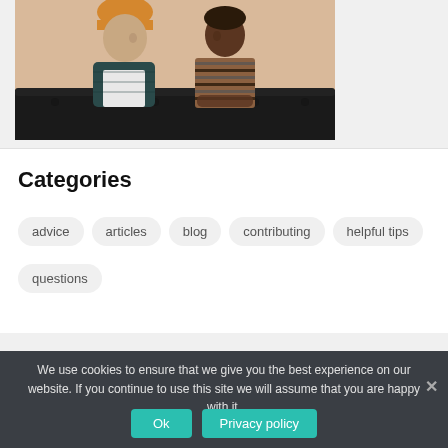[Figure (photo): A man wearing an orange beanie hat and dark puffer vest over a white shirt sits next to a Black woman wearing a brown striped long-sleeve top. They are seated on a black tufted leather couch against a beige wall, looking at each other.]
Categories
advice
articles
blog
contributing
helpful tips
questions
We use cookies to ensure that we give you the best experience on our website. If you continue to use this site we will assume that you are happy with it.